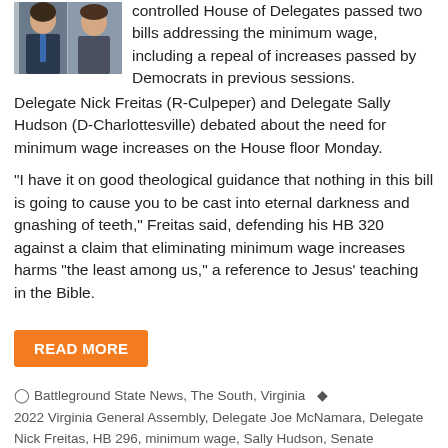[Figure (photo): Two people in professional attire — a man in a suit and tie on the left and a woman on the right]
controlled House of Delegates passed two bills addressing the minimum wage, including a repeal of increases passed by Democrats in previous sessions. Delegate Nick Freitas (R-Culpeper) and Delegate Sally Hudson (D-Charlottesville) debated about the need for minimum wage increases on the House floor Monday.
“I have it on good theological guidance that nothing in this bill is going to cause you to be cast into eternal darkness and gnashing of teeth,” Freitas said, defending his HB 320 against a claim that eliminating minimum wage increases harms “the least among us,” a reference to Jesus’ teaching in the Bible.
READ MORE
Battleground State News, The South, Virginia   2022 Virginia General Assembly, Delegate Joe McNamara, Delegate Nick Freitas, HB 296, minimum wage, Sally Hudson, Senate Commerce and Labor Committee
1 Comment